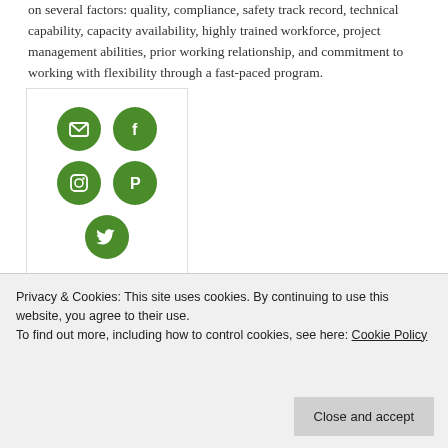on several factors: quality, compliance, safety track record, technical capability, capacity availability, highly trained workforce, project management abilities, prior working relationship, and commitment to working with flexibility through a fast-paced program.
[Figure (infographic): Social media icons widget with green circular buttons for email, Facebook, Instagram, Pinterest, and Twitter arranged in a 2-2-1 grid pattern inside a bordered box.]
Privacy & Cookies: This site uses cookies. By continuing to use this website, you agree to their use.
To find out more, including how to control cookies, see here: Cookie Policy
[Close and accept button]